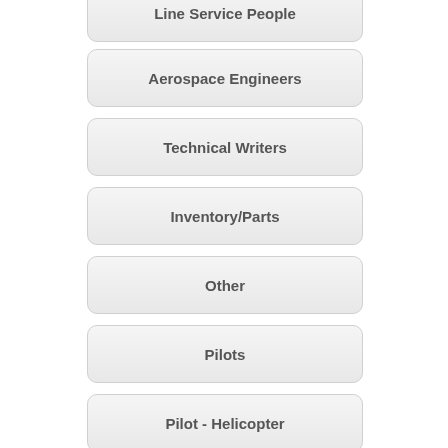Line Service People
Aerospace Engineers
Technical Writers
Inventory/Parts
Other
Pilots
Pilot - Helicopter
Dispatchers
Flight Attendants